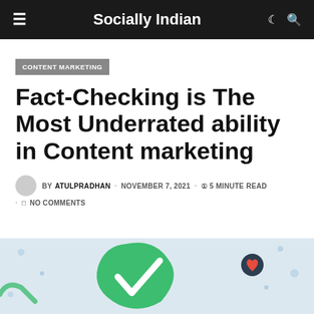Socially Indian
CONTENT MARKETING
Fact-Checking is The Most Underrated ability in Content marketing
BY ATULPRADHAN · NOVEMBER 7, 2021 · 5 MINUTE READ · NO COMMENTS
[Figure (illustration): Colorful illustration at the bottom of the page showing a large green checkmark and a small character figure, on a light blue background with decorative dots]